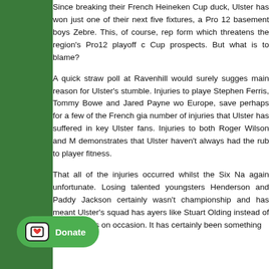Since breaking their French Heineken Cup duck, Ulster has won just one of their next five fixtures, a Pro 12 basement boys Zebre. This, of course, rep form which threatens the region's Pro12 playoff c Cup prospects. But what is to blame?
A quick straw poll at Ravenhill would surely sugges main reason for Ulster's stumble. Injuries to playe Stephen Ferris, Tommy Bowe and Jared Payne wo Europe, save perhaps for a few of the French gia number of injuries that Ulster has suffered in key Ulster fans. Injuries to both Roger Wilson and M demonstrates that Ulster haven't always had the rub to player fitness.
That all of the injuries occurred whilst the Six Na again unfortunate. Losing talented youngsters Henderson and Paddy Jackson certainly wasn't championship and has meant Ulster's squad has ayers like Stuart Olding instead of relea squads on occasion. It has certainly been something